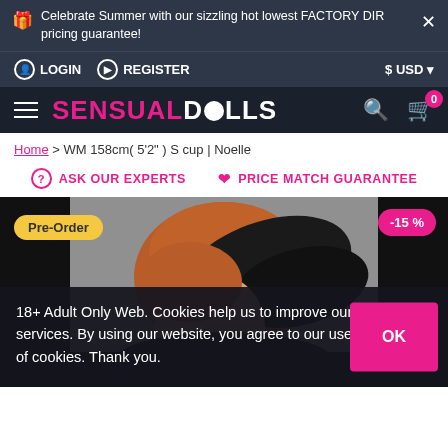Celebrate Summer with our sizzling hot lowest FACTORY DIR pricing guarantee!
LOGIN   REGISTER   $ USD
SENSUALDOLLS
Home > WM 158cm( 5'2" ) S cup | Noelle
ASK OUR EXPERTS   PRICE MATCH GUARANTEE
[Figure (photo): Product photo of a doll with red/auburn hair against a gray background. Pre-Order badge on left, -15% discount badge on right.]
18+ Adult Only Web. Cookies help us to improve our services. By using our website, you agree to our use of cookies. Thank you.